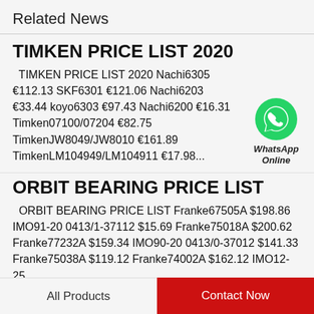Related News
TIMKEN PRICE LIST 2020
TIMKEN PRICE LIST 2020 Nachi6305 €112.13 SKF6301 €121.06 Nachi6203 €33.44 koyo6303 €97.43 Nachi6200 €16.31 Timken07100/07204 €82.75 TimkenJW8049/JW8010 €161.89 TimkenLM104949/LM104911 €17.98...
[Figure (illustration): WhatsApp Online green chat bubble icon with label 'WhatsApp Online']
ORBIT BEARING PRICE LIST
ORBIT BEARING PRICE LIST Franke67505A $198.86 IMO91-20 0413/1-37112 $15.69 Franke75018A $200.62 Franke77232A $159.34 IMO90-20 0413/0-37012 $141.33 Franke75038A $119.12 Franke74002A $162.12 IMO12-25...
All Products | Contact Now